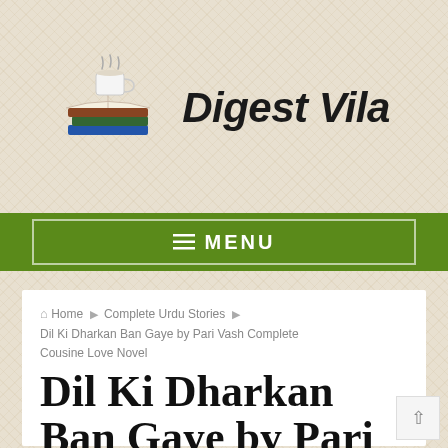[Figure (logo): Digest Vila logo with stacked books and coffee cup icon next to italic bold text 'Digest Vila']
☰ MENU
Home ▸ Complete Urdu Stories ▸ Dil Ki Dharkan Ban Gaye by Pari Vash Complete Cousine Love Novel
Dil Ki Dharkan Ban Gaye by Pari Vash Complete